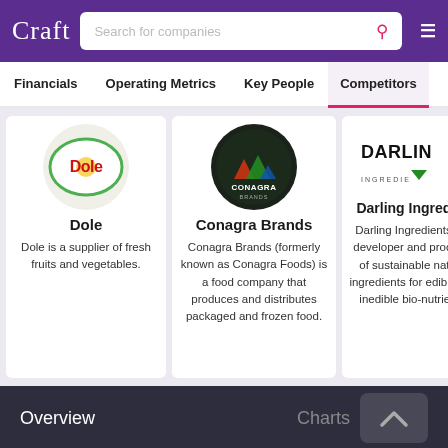Craft — Search for companies
Financials | Operating Metrics | Key People | Competitors
[Figure (logo): Dole logo - red Dole text on white oval with green border and yellow sunburst]
Dole
Dole is a supplier of fresh fruits and vegetables.
[Figure (logo): Conagra Brands logo - dark circular badge with mountain/plant icons and Conagra Brands text]
Conagra Brands
Conagra Brands (formerly known as Conagra Foods) is a food company that produces and distributes packaged and frozen food.
[Figure (logo): Darling Ingredients logo - DARLIN text with green triangle icon, partially cropped]
Darling Ingredien
Darling Ingredients is a developer and producer of sustainable natural ingredients for edible and inedible bio-nutrients.
Overview   Charts